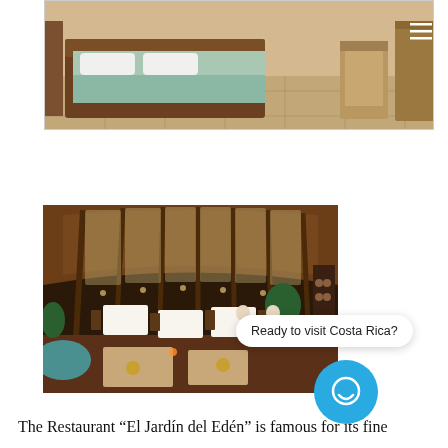[Figure (photo): Top portion of a hotel bedroom photo showing a wooden bed with light blue/green bedding, tiled floor, wooden chairs, and a hamburger menu icon in the top-right corner]
[Figure (photo): Interior of restaurant El Jardin del Eden showing a large open-air dining room with wooden arched ceiling/roof structure, white tablecloth tables, diners, and green plants. A teal pool edge is visible on the left side.]
Ready to visit Costa Rica?
The Restaurant “El Jardín del Edén” is famous for its fine